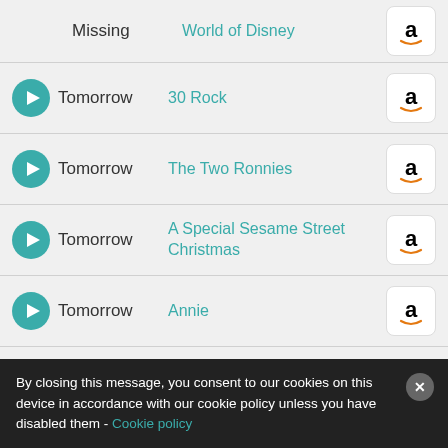Missing | World of Disney
Tomorrow | 30 Rock
Tomorrow | The Two Ronnies
Tomorrow | A Special Sesame Street Christmas
Tomorrow | Annie
Tomorrow | Idina Menzel Live: Barefoot at the Symphony
Tomorrow | Like Mike
Tomorrow | (partially visible)
By closing this message, you consent to our cookies on this device in accordance with our cookie policy unless you have disabled them - Cookie policy